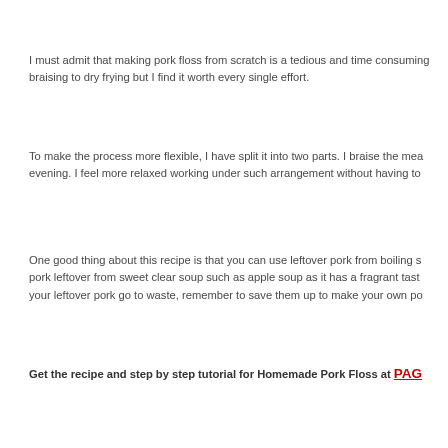I must admit that making pork floss from scratch is a tedious and time consuming braising to dry frying but I find it worth every single effort.
To make the process more flexible, I have split it into two parts. I braise the meat evening. I feel more relaxed working under such arrangement without having to
One good thing about this recipe is that you can use leftover pork from boiling s pork leftover from sweet clear soup such as apple soup as it has a fragrant tast your leftover pork go to waste, remember to save them up to make your own po
Get the recipe and step by step tutorial for Homemade Pork Floss at PAGE